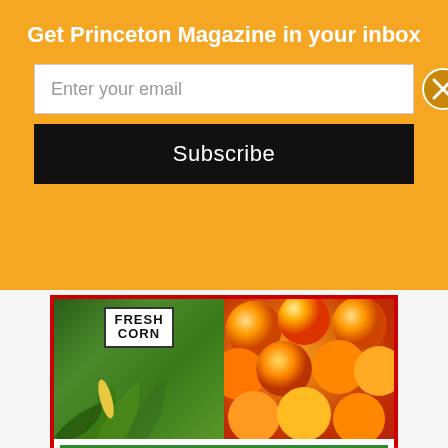Get Princeton Magazine in your inbox
Enter your email
Subscribe
[Figure (infographic): Terhune Orchards advertisement showing fresh corn and peaches photos at top, green-bordered box with 'SUMMER AT THE WINERY' headline, sangria weekends text, hours, and a guitar illustration. Footer with Instagram icon, website, phone, and Facebook icon.]
SUMMER AT THE WINERY
August Sangria Weekends with Fresh Terhune Fruit
Fridays 12 pm - 8 pm
Sat & Sun 12 pm - 5 pm
Enjoy local music, wine, good food, friends & fresh air
www.terhuneorchards.com • (609) 924-2310